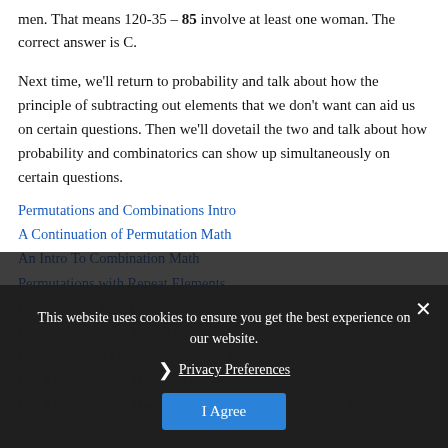men. That means 120-35 – 85 involve at least one woman. The correct answer is C.
Next time, we'll return to probability and talk about how the principle of subtracting out elements that we don't want can aid us on certain questions. Then we'll dovetail the two and talk about how probability and combinatorics can show up simultaneously on certain questions.
Permutations and Combinations Intro
A Continuation of Permutation Math
An Intro To Combination Math
Permutations with Repeat Elements
Permutations With Constraints
Combinations with Restrictions
Independent vs Dependent Probability
GMAT Probability Math: A Two-Step Approach
GMAT Probability Meets Combinatorics: One Problem, Two Approaches